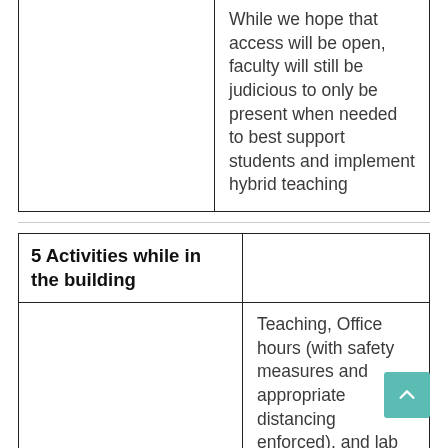|  |  |
| --- | --- |
|  | While we hope that access will be open, faculty will still be judicious to only be present when needed to best support students and implement hybrid teaching |
| 5 Activities while in the building |  |
| --- | --- |
|  | Teaching, Office hours (with safety measures and appropriate distancing enforced), and lab access for those with research groups/agendas. |